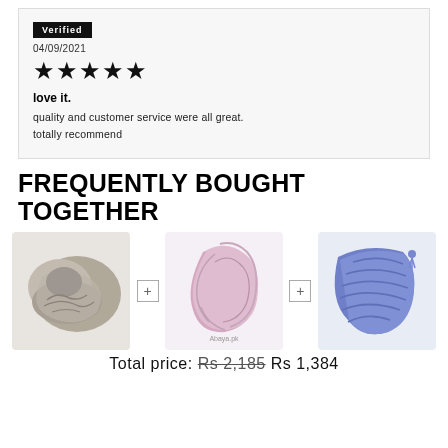Verified
04/09/2021
★★★★★
love it.
quality and customer service were all great. totally recommend
FREQUENTLY BOUGHT TOGETHER
[Figure (photo): Three hijab/scarf products shown side by side with plus signs between them: gray hijab, pink hijab, blue striped hijab]
Total price: Rs 2,185 Rs 1,384